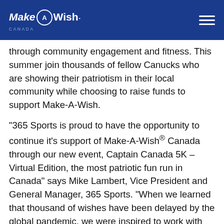Make-A-Wish Canada
through community engagement and fitness. This summer join thousands of fellow Canucks who are showing their patriotism in their local community while choosing to raise funds to support Make-A-Wish.
“365 Sports is proud to have the opportunity to continue it’s support of Make-A-Wish® Canada through our new event, Captain Canada 5K – Virtual Edition, the most patriotic fun run in Canada” says Mike Lambert, Vice President and General Manager, 365 Sports. “When we learned that thousand of wishes have been delayed by the global pandemic, we were inspired to work with our community of event participants to raise much needed funds to help bring hope back into a child’s life. We have a whole network of